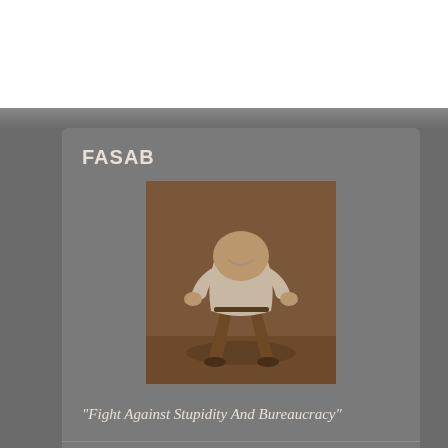FASAB
[Figure (photo): Sepia-toned photograph of a person bent over with head between their legs, wearing a white shirt and brown pants, viewed from behind.]
"Fight Against Stupidity And Bureaucracy"
FOLLOW BLOG VIA EMAIL
Enter your email address to follow this blog and receive notifications of new posts by email.